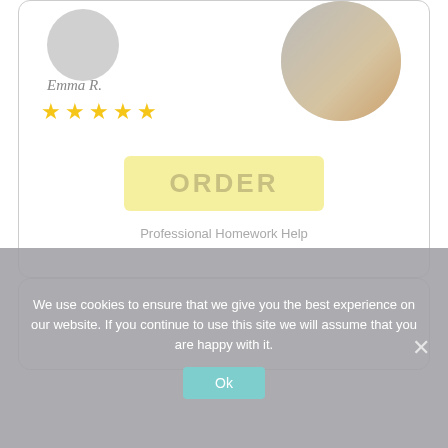[Figure (photo): Circular avatar placeholder for Emma R. on the left side]
Emma R.
[Figure (other): Five yellow star rating icons]
[Figure (photo): Circular photo of a person wearing a yellow/orange shirt on the right]
ORDER
Professional Homework Help
Pages
We use cookies to ensure that we give you the best experience on our website. If you continue to use this site we will assume that you are happy with it.
Ok